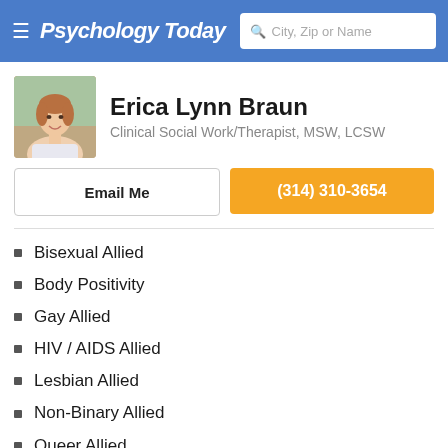Psychology Today — City, Zip or Name search
Erica Lynn Braun
Clinical Social Work/Therapist, MSW, LCSW
Email Me
(314) 310-3654
Bisexual Allied
Body Positivity
Gay Allied
HIV / AIDS Allied
Lesbian Allied
Non-Binary Allied
Queer Allied
Transgender Allied
Vegan Allied